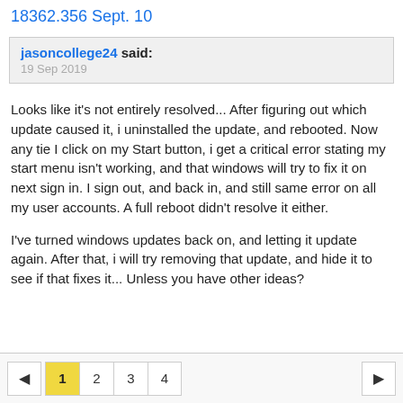18362.356 Sept. 10
jasoncollege24 said:
19 Sep 2019
Looks like it's not entirely resolved... After figuring out which update caused it, i uninstalled the update, and rebooted. Now any tie I click on my Start button, i get a critical error stating my start menu isn't working, and that windows will try to fix it on next sign in. I sign out, and back in, and still same error on all my user accounts. A full reboot didn't resolve it either.

I've turned windows updates back on, and letting it update again. After that, i will try removing that update, and hide it to see if that fixes it... Unless you have other ideas?
◀  1  2  3  4  ▶